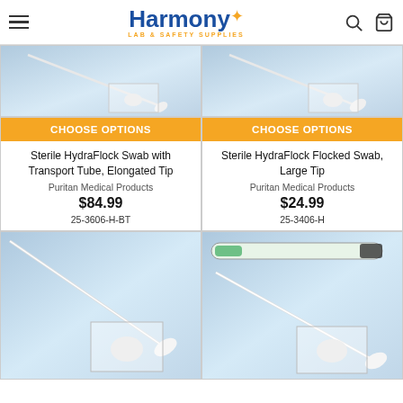Harmony LAB & SAFETY SUPPLIES
[Figure (screenshot): Product image for Sterile HydraFlock Swab with Transport Tube, Elongated Tip]
CHOOSE OPTIONS
Sterile HydraFlock Swab with Transport Tube, Elongated Tip
Puritan Medical Products
$84.99
25-3606-H-BT
[Figure (screenshot): Product image for Sterile HydraFlock Flocked Swab, Large Tip]
CHOOSE OPTIONS
Sterile HydraFlock Flocked Swab, Large Tip
Puritan Medical Products
$24.99
25-3406-H
[Figure (photo): Product photo showing a swab on blue background with close-up inset]
[Figure (photo): Product photo showing a swab with transport tube on blue background with close-up inset]